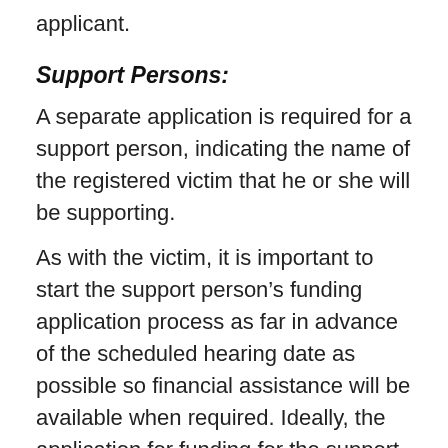applicant.
Support Persons:
A separate application is required for a support person, indicating the name of the registered victim that he or she will be supporting.
As with the victim, it is important to start the support person’s funding application process as far in advance of the scheduled hearing date as possible so financial assistance will be available when required. Ideally, the application for funding for the support person would accompany the